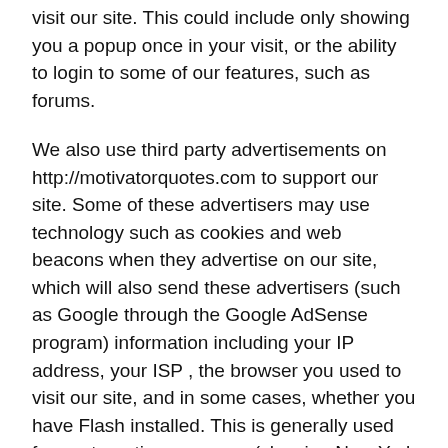visit our site. This could include only showing you a popup once in your visit, or the ability to login to some of our features, such as forums.
We also use third party advertisements on http://motivatorquotes.com to support our site. Some of these advertisers may use technology such as cookies and web beacons when they advertise on our site, which will also send these advertisers (such as Google through the Google AdSense program) information including your IP address, your ISP , the browser you used to visit our site, and in some cases, whether you have Flash installed. This is generally used for geotargeting purposes (showing New York real estate ads to someone in New York, for example) or showing certain ads based on specific sites visited (such as showing cooking ads to someone who frequents cooking sites).